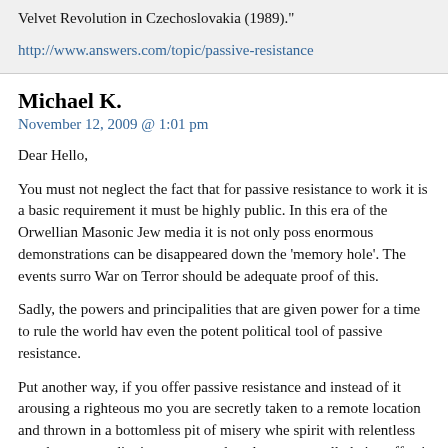Velvet Revolution in Czechoslovakia (1989)."
http://www.answers.com/topic/passive-resistance
Michael K.
November 12, 2009 @ 1:01 pm
Dear Hello,
You must not neglect the fact that for passive resistance to work it is a basic requirement it must be highly public. In this era of the Orwellian Masonic Jew media it is not only possible enormous demonstrations can be disappeared down the ‘memory hole’. The events surrounding the War on Terror should be adequate proof of this.
Sadly, the powers and principalities that are given power for a time to rule the world have neutered even the potent political tool of passive resistance.
Put another way, if you offer passive resistance and instead of it arousing a righteous moral outrage you are secretly taken to a remote location and thrown in a bottomless pit of misery where they assault your spirit with relentless attacks on your dignity, person and soul, are you really being effective?
And at that moment wouldn’t you trade your beggar’s bowl for an M-14 and a hundred rounds? I do not presume to judge those who will resist with arms, for does not God require us all to eat, breathe and live before we take up the cause of improving the world?
There is a maxim of some wisdom to be considered: “Seek not to follow in the footsteps